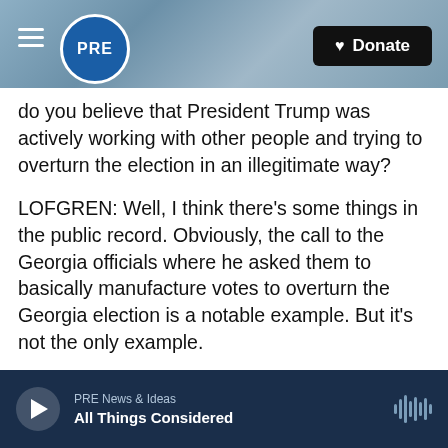[Figure (screenshot): PRE (Public Radio Exchange) website header with logo, hamburger menu, and Donate button on a blue ocean wave background]
do you believe that President Trump was actively working with other people and trying to overturn the election in an illegitimate way?
LOFGREN: Well, I think there's some things in the public record. Obviously, the call to the Georgia officials where he asked them to basically manufacture votes to overturn the Georgia election is a notable example. But it's not the only example.
So I'm not going to go into all the evidence that the committee has at this point. That will be outlined at a different time and different place. But we
PRE News & Ideas
All Things Considered